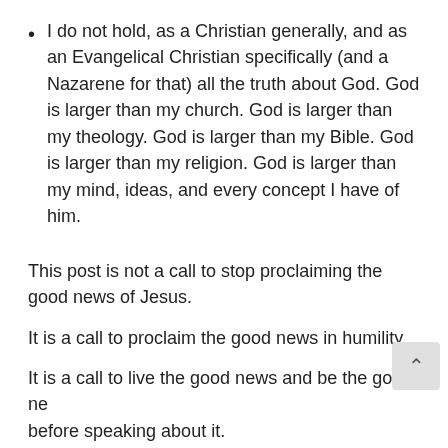I do not hold, as a Christian generally, and as an Evangelical Christian specifically (and a Nazarene for that) all the truth about God. God is larger than my church. God is larger than my theology. God is larger than my Bible. God is larger than my religion. God is larger than my mind, ideas, and every concept I have of him.
This post is not a call to stop proclaiming the good news of Jesus.
It is a call to proclaim the good news in humility.
It is a call to live the good news and be the good ne[ws] before speaking about it.
It is a call to... [partially visible]